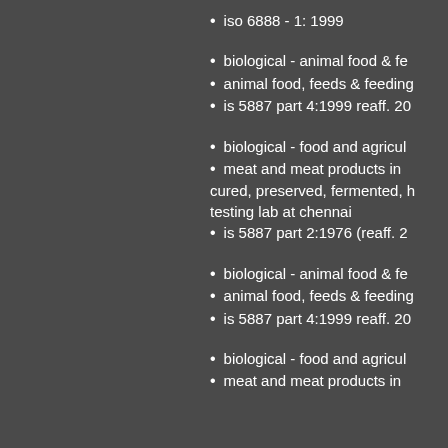iso 6888 - 1: 1999
biological - animal food & fe...
animal food, feeds & feeding...
is 5887 part 4:1999 reaff. 20...
biological - food and agricul...
meat and meat products in... cured, preserved, fermented, h... testing lab at chennai
is 5887 part 2:1976 (reaff. 2...
biological - animal food & fe...
animal food, feeds & feeding...
is 5887 part 4:1999 reaff. 20...
biological - food and agricul...
meat and meat products in...